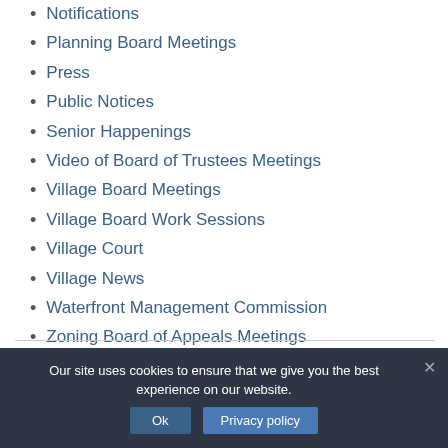Notifications
Planning Board Meetings
Press
Public Notices
Senior Happenings
Video of Board of Trustees Meetings
Village Board Meetings
Village Board Work Sessions
Village Court
Village News
Waterfront Management Commission
Zoning Board of Appeals Meetings
Our site uses cookies to ensure that we give you the best experience on our website.